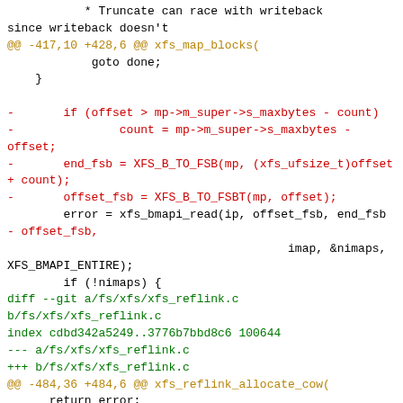* Truncate can race with writeback since writeback doesn't
@@ -417,10 +428,6 @@ xfs_map_blocks(
        goto done;
    }

-       if (offset > mp->m_super->s_maxbytes - count)
-               count = mp->m_super->s_maxbytes - offset;
-       end_fsb = XFS_B_TO_FSB(mp, (xfs_ufsize_t)offset + count);
-       offset_fsb = XFS_B_TO_FSBT(mp, offset);
        error = xfs_bmapi_read(ip, offset_fsb, end_fsb
- offset_fsb,
                                        imap, &nimaps,
XFS_BMAPI_ENTIRE);
        if (!nimaps) {
diff --git a/fs/xfs/xfs_reflink.c b/fs/xfs/xfs_reflink.c
index cdbd342a5249..3776b7bbd8c6 100644
--- a/fs/xfs/xfs_reflink.c
+++ b/fs/xfs/xfs_reflink.c
@@ -484,36 +484,6 @@ xfs_reflink_allocate_cow(
       return error;
 }

-/*
- * Find the CoW reservation for a given byte offset of a file.
- */